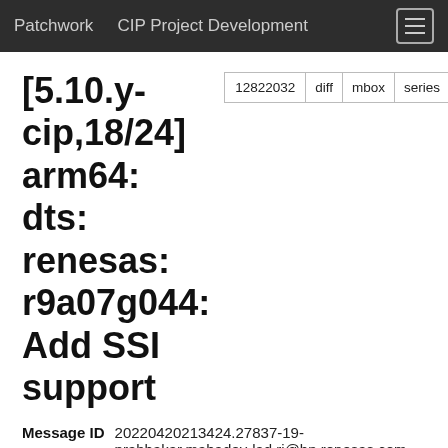Patchwork   CIP Project Development
[5.10.y-cip,18/24] arm64: dts: renesas: r9a07g044: Add SSI support
| Field | Value |
| --- | --- |
| Message ID | 20220420213424.27837-19-prabhakar.mahadev-lad.rj@bp.renesas.com (mailing list archive) |
| State | New |
| Headers | show |
| Series | Add sound support to Renesas RZ/G2L SoC | expand |
Commit Message